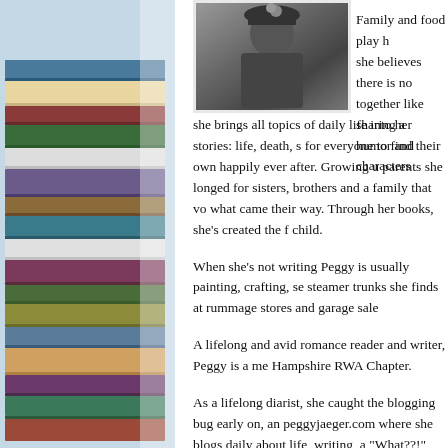[Figure (photo): Black and white photograph of a person, cropped at top portion of page]
Family and food play h... she believes there is no... together like sharing a... humor and characters...
she brings all topics of daily life into her stories: life, death, s... for everyone to find their own happily ever after. Growing u... parents she longed for sisters, brothers and a family that vo... what came their way. Through her books, she's created the f... child.
When she's not writing Peggy is usually painting, crafting, se... steamer trunks she finds at rummage stores and garage sale...
A lifelong and avid romance reader and writer, Peggy is a me... Hampshire RWA Chapter.
As a lifelong diarist, she caught the blogging bug early on, an... peggyjaeger.com where she blogs daily about life, writing, a... "What??!"